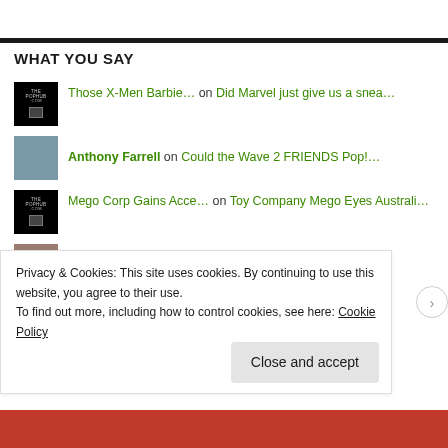WHAT YOU SAY
Those X-Men Barbie… on Did Marvel just give us a snea…
Anthony Farrell on Could the Wave 2 FRIENDS Pop!…
Mego Corp Gains Acce… on Toy Company Mego Eyes Australi…
alodia on Could the Wave 2 FRIENDS Pop!…
alodia on Could the Wave 2 FRIENDS Pop!…
Privacy & Cookies: This site uses cookies. By continuing to use this website, you agree to their use.
To find out more, including how to control cookies, see here: Cookie Policy
Close and accept